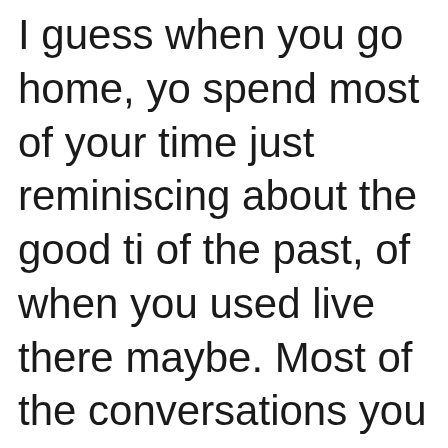I guess when you go home, you spend most of your time just reminiscing about the good times of the past, of when you used to live there maybe. Most of the conversations you have also are just normal ones, talking about day-to-day things (e.g. the weather, etc.).
Sometimes your friends and fa... dominate the conversation...